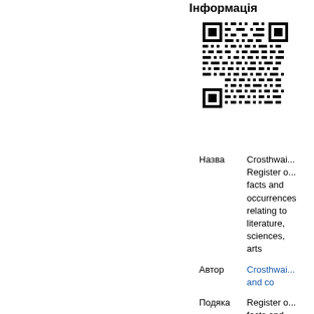Інформація
[Figure (other): QR code image]
| Назва | Crosthwai... Register o... facts and occurrences relating to literature, sciences, arts |
| Автор | Crosthwai... and co |
| Подяка | Register o... facts and occurrences relating to |